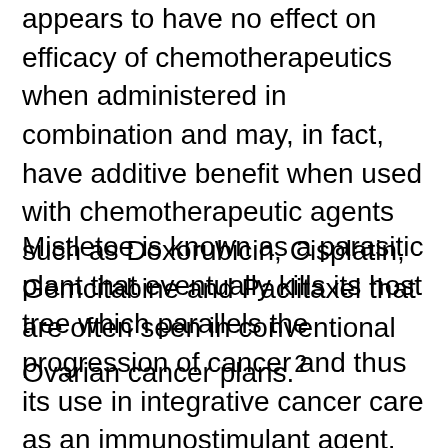appears to have no effect on efficacy of chemotherapeutics when administered in combination and may, in fact, have additive benefit when used with chemotherapeutic agents such as Doxorubicin, Cisplatin, Gemcitabine and Paclitaxel that are often seen in conventional Ovarian cancer plans.²
Mistletoe is known as a parasitic plant that eventually kills its host tree which parallels the progression of cancer and thus its use in integrative cancer care as an immunostimulant agent. The Visculle toxin and lectins are the components of the plant with the therapeutic and cytotoxic effects. The type of Mistletoe used varies dependent on the type of cancer. A randomized control trial from Grossarth-Maticek and Ziegler (2007)